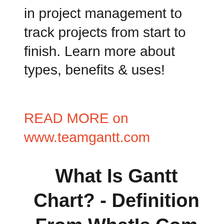in project management to track projects from start to finish. Learn more about types, benefits & uses!
READ MORE on www.teamgantt.com
What Is Gantt Chart? - Definition From WhatIs.Com